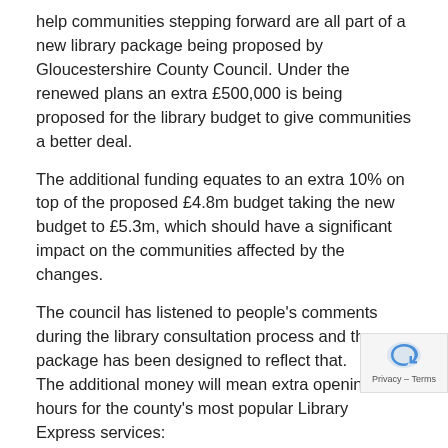help communities stepping forward are all part of a new library package being proposed by Gloucestershire County Council. Under the renewed plans an extra £500,000 is being proposed for the library budget to give communities a better deal.
The additional funding equates to an extra 10% on top of the proposed £4.8m budget taking the new budget to £5.3m, which should have a significant impact on the communities affected by the changes.
The council has listened to people's comments during the library consultation process and the new package has been designed to reflect that.
The additional money will mean extra opening hours for the county's most popular Library Express services:
Bishops Cleeve – from 28 hours/3.5days to 40 hours/six days
Quedgeley – from 28 hours/3.5 days to 35 hours/five